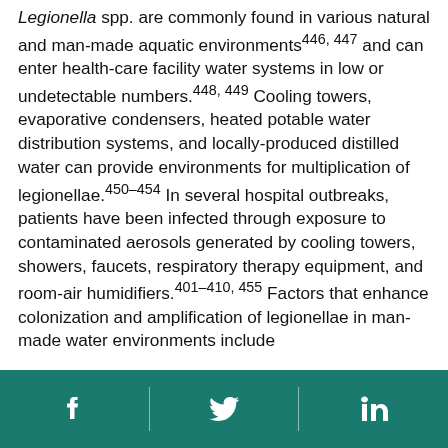Legionella spp. are commonly found in various natural and man-made aquatic environments446, 447 and can enter health-care facility water systems in low or undetectable numbers.448, 449 Cooling towers, evaporative condensers, heated potable water distribution systems, and locally-produced distilled water can provide environments for multiplication of legionellae.450–454 In several hospital outbreaks, patients have been infected through exposure to contaminated aerosols generated by cooling towers, showers, faucets, respiratory therapy equipment, and room-air humidifiers.401–410, 455 Factors that enhance colonization and amplification of legionellae in man-made water environments include
Social media icons: Facebook, Twitter, LinkedIn